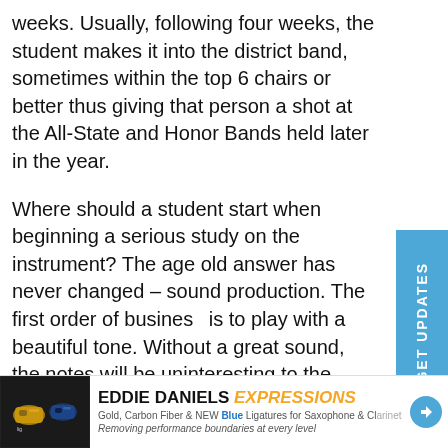weeks. Usually, following four weeks, the student makes it into the district band, sometimes within the top 6 chairs or better thus giving that person a shot at the All-State and Honor Bands held later in the year.
Where should a student start when beginning a serious study on the instrument? The age old answer has never changed – sound production. The first order of business is to play with a beautiful tone. Without a great sound, the notes will be uninteresting to the listener – regardless of who is listening. Thousands of clarinetists play with average or uninteresting tones, but the fact is that, with a daily approach and not much difference in time commitment, most of those students could develop a truly superb and wonderfully controlled sound. Why then don't they? No one has ever expected them to. As a former public school teacher, I am well aware of the band
[Figure (illustration): Advertisement banner for Eddie Daniels Expressions ligatures. Shows product images of ligatures (black background), brand name EDDIE DANIELS EXPRESSIONS in bold with orange italic text for EXPRESSIONS, subtext: Gold, Carbon Fiber & NEW Blue Ligatures for Saxophone & Clarinet, tagline: Removing performance boundaries at every level. Has a blue circular arrow button.]